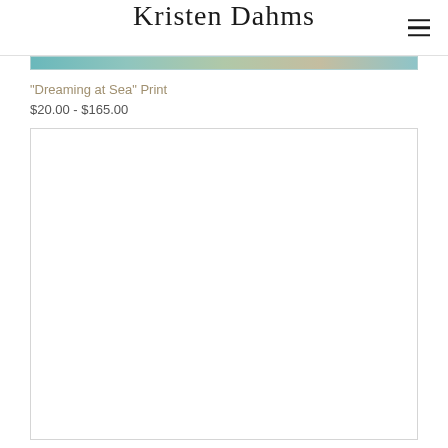Kristen Dahms
[Figure (photo): Partial image strip showing a coastal/ocean scene with teal and sandy tones at the top of the product listing]
"Dreaming at Sea" Print
$20.00 - $165.00
[Figure (photo): Large white/blank image area — a second product image placeholder with a light gray border]